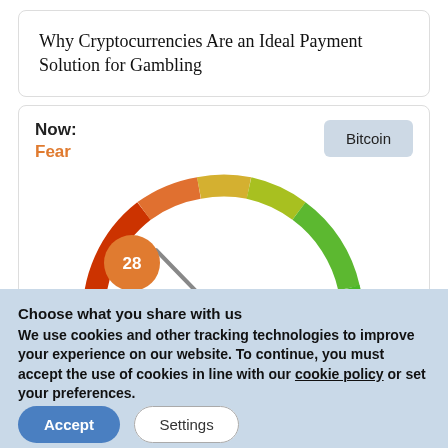Why Cryptocurrencies Are an Ideal Payment Solution for Gambling
[Figure (infographic): Fear & Greed gauge showing value 28 (Fear) for Bitcoin. A semicircular gauge colored red-orange to green with a needle pointing to lower-left (fear zone). Value bubble shows '28' in orange circle. Label reads 'Now: Fear'. Bitcoin button shown top right.]
Choose what you share with us
We use cookies and other tracking technologies to improve your experience on our website. To continue, you must accept the use of cookies in line with our cookie policy or set your preferences.